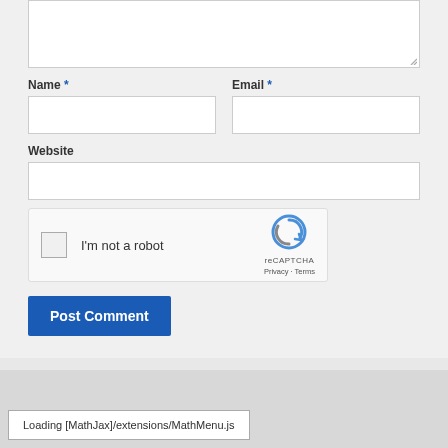[Figure (screenshot): Web comment form with textarea (partially visible at top), Name and Email fields, Website field, reCAPTCHA widget, and Post Comment button]
Name *
Email *
Website
I'm not a robot
reCAPTCHA
Privacy · Terms
Post Comment
Loading [MathJax]/extensions/MathMenu.js